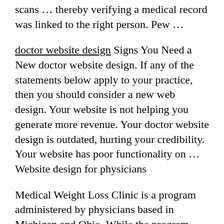scans … thereby verifying a medical record was linked to the right person. Pew …
doctor website design Signs You Need a New doctor website design. If any of the statements below apply to your practice, then you should consider a new web design. Your website is not helping you generate more revenue. Your doctor website design is outdated, hurting your credibility. Your website has poor functionality on … Website design for physicians
Medical Weight Loss Clinic is a program administered by physicians based in Michigan and Ohio. While the program appears to be effective when patients are on-site, the program is also available as a web and phone-based consultation service.